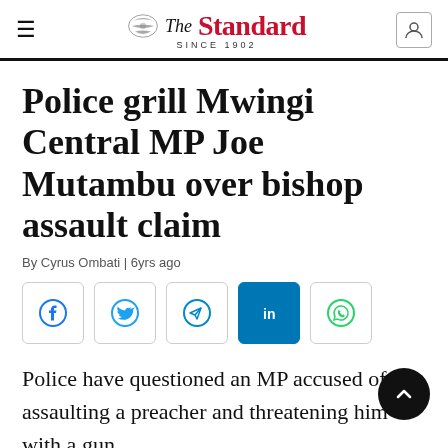The Standard SINCE 1902
Police grill Mwingi Central MP Joe Mutambu over bishop assault claim
By Cyrus Ombati | 6yrs ago
[Figure (other): Social media share buttons: Facebook, Twitter, Telegram, LinkedIn, WhatsApp]
Police have questioned an MP accused of assaulting a preacher and threatening him with a gun.